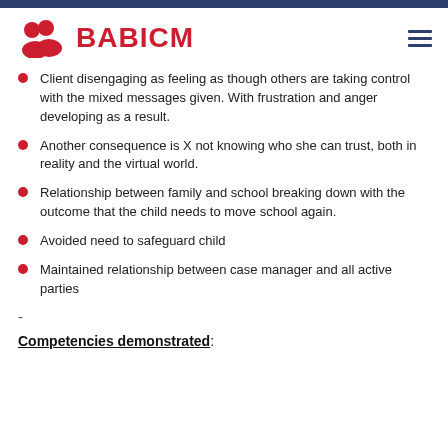BABICM
Client disengaging as feeling as though others are taking control with the mixed messages given. With frustration and anger developing as a result.
Another consequence is X not knowing who she can trust, both in reality and the virtual world.
Relationship between family and school breaking down with the outcome that the child needs to move school again.
Avoided need to safeguard child
Maintained relationship between case manager and all active parties
-
Competencies demonstrated: